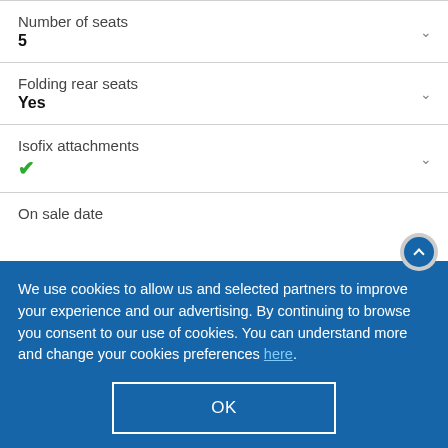Number of seats
5
Folding rear seats
Yes
Isofix attachments
✓
On sale date
We use cookies to allow us and selected partners to improve your experience and our advertising. By continuing to browse you consent to our use of cookies. You can understand more and change your cookies preferences here.
OK